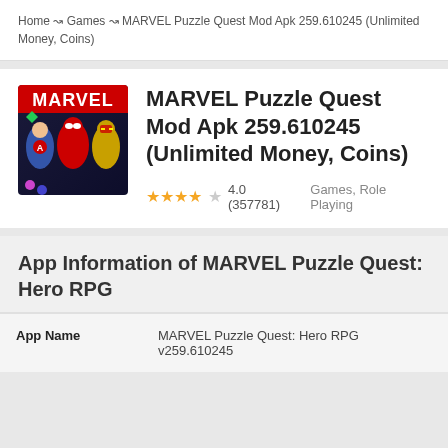Home ↝ Games ↝ MARVEL Puzzle Quest Mod Apk 259.610245 (Unlimited Money, Coins)
MARVEL Puzzle Quest Mod Apk 259.610245 (Unlimited Money, Coins)
★★★★☆ 4.0 (357781) Games, Role Playing
App Information of MARVEL Puzzle Quest: Hero RPG
|  |  |
| --- | --- |
| App Name | MARVEL Puzzle Quest: Hero RPG
v259.610245 |